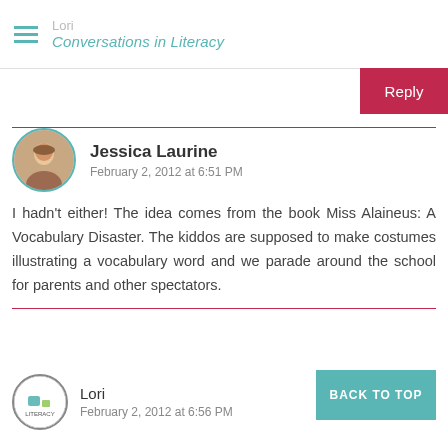Lori | Conversations in Literacy
Reply
Jessica Laurine
February 2, 2012 at 6:51 PM

I hadn't either! The idea comes from the book Miss Alaineus: A Vocabulary Disaster. The kiddos are supposed to make costumes illustrating a vocabulary word and we parade around the school for parents and other spectators.
Lori
February 2, 2012 at 6:56 PM
BACK TO TOP